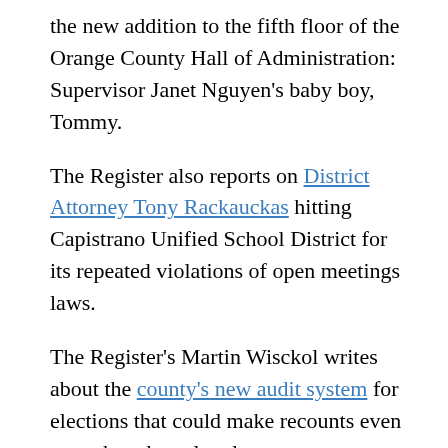the new addition to the fifth floor of the Orange County Hall of Administration: Supervisor Janet Nguyen's baby boy, Tommy.
The Register also reports on District Attorney Tony Rackauckas hitting Capistrano Unified School District for its repeated violations of open meetings laws.
The Register's Martin Wisckol writes about the county's new audit system for elections that could make recounts even rarer than they already are.
The Daily Pilot also about John W...